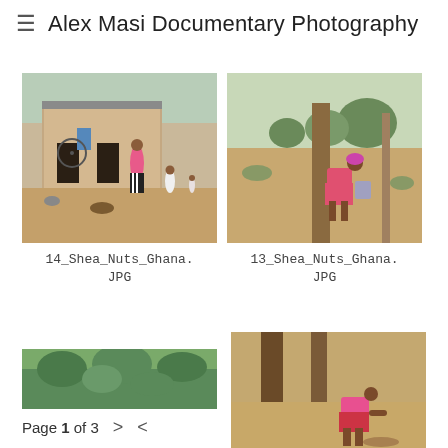≡  Alex Masi Documentary Photography
[Figure (photo): Children and women in a rural courtyard with mud-brick buildings in Ghana, cooking and carrying items]
14_Shea_Nuts_Ghana.JPG
[Figure (photo): A woman bending over in a dry open field with a tree nearby in Ghana]
13_Shea_Nuts_Ghana.JPG
[Figure (photo): Partial view of a green lush area, top of image cropped]
Page 1 of 3
[Figure (photo): A person bending down near tree trunks on sandy ground in Ghana]